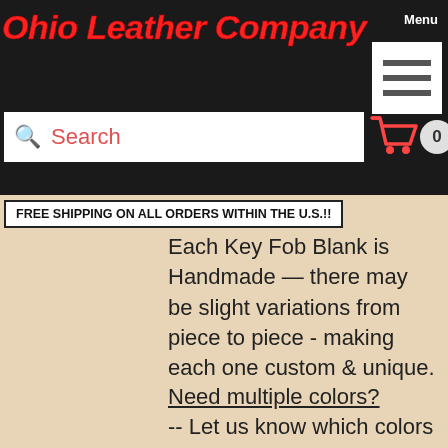Ohio Leather Company
FREE SHIPPING ON ALL ORDERS WITHIN THE U.S.!!
Each Key Fob Blank is Handmade - there may be slight variations from piece to piece - making each one custom & unique.
Need multiple colors?
-- Let us know which colors & how many of each in the Special Requests.
SHIPPING
FREE SHIPPING ON ALL U.S. ORDERS!!
Ships from Ohio U.S.A.
Ships within 4-7 business days
USPS-1st class Mail